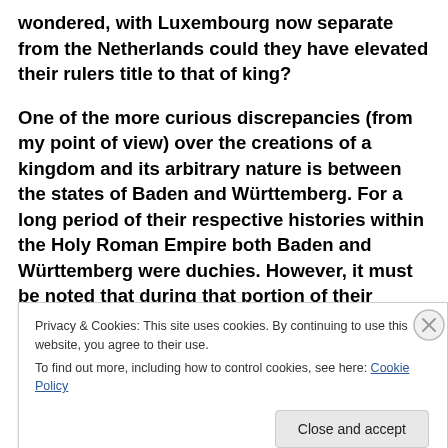wondered, with Luxembourg now separate from the Netherlands could they have elevated their rulers title to that of king?

One of the more curious discrepancies (from my point of view) over the creations of a kingdom and its arbitrary nature is between the states of Baden and Württemberg. For a long period of their respective histories within the Holy Roman Empire both Baden and Württemberg were duchies. However, it must be noted that during that portion of their history Baden
Privacy & Cookies: This site uses cookies. By continuing to use this website, you agree to their use.
To find out more, including how to control cookies, see here: Cookie Policy
Close and accept